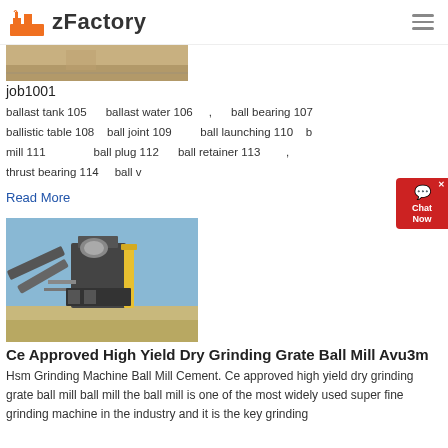zFactory
[Figure (photo): Partial view of industrial/machinery image at top of page]
job1001
ballast tank 105    ballast water 106  ,    ball bearing 107    ballistic table 108    ball joint 109    ball launching 110    b mill 111    ball plug 112    ball retainer 113  ,  thrust bearing 114    ball v
Read More
[Figure (photo): Industrial grinding/milling facility with conveyor belts, yellow tower, and machinery against a blue sky.]
Ce Approved High Yield Dry Grinding Grate Ball Mill Avu3m
Hsm Grinding Machine Ball Mill Cement. Ce approved high yield dry grinding grate ball mill ball mill the ball mill is one of the most widely used super fine grinding machine in the industry and it is the key grinding